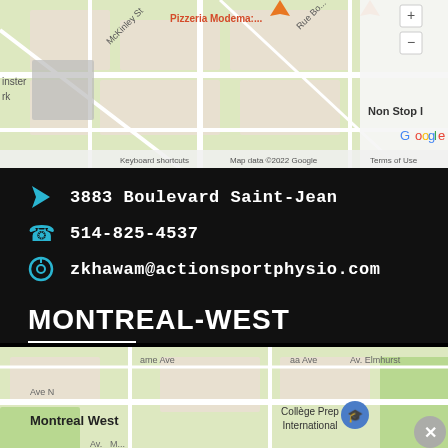[Figure (map): Google Maps screenshot showing street map with Pizzeria Modema, Matsuno Sushi Fusion, Non Stop label, McKinley St, Rue Bo, Google logo, keyboard shortcuts and map data copyright notice]
3883 Boulevard Saint-Jean
514-825-4537
zkhawam@actionsportphysio.com
MONTREAL-WEST
[Figure (map): Google Maps screenshot showing Montreal West area with College Prep International marker, Ave N, Av. Elmhurst labels]
Advertisements
[Figure (screenshot): DuckDuckGo advertisement banner: Search, browse, and email with more privacy. All in One Free App]